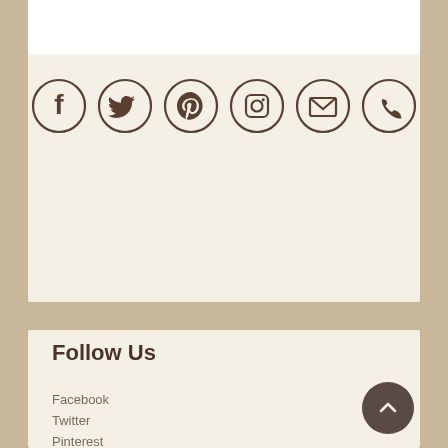[Figure (infographic): Six social media icon circles in a row: Facebook, Twitter, Pinterest, Instagram, Email, Phone. Brown outline circles on cream background.]
Follow Us
Facebook
Twitter
Pinterest
Instagram